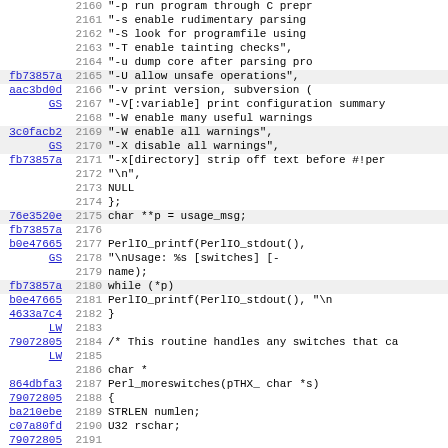[Figure (screenshot): Source code diff/annotation view showing C code lines 2160-2191 with commit hash annotations in left column, line numbers in middle column, and code content in right column. Highlighted rows indicate specific commits. Code shows usage_msg array with perl switches and Perl_moreswitches function definition.]